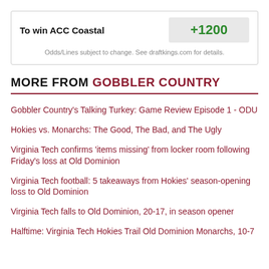| Label | Value |
| --- | --- |
| To win ACC Coastal | +1200 |
Odds/Lines subject to change. See draftkings.com for details.
MORE FROM GOBBLER COUNTRY
Gobbler Country's Talking Turkey: Game Review Episode 1 - ODU
Hokies vs. Monarchs: The Good, The Bad, and The Ugly
Virginia Tech confirms 'items missing' from locker room following Friday's loss at Old Dominion
Virginia Tech football: 5 takeaways from Hokies' season-opening loss to Old Dominion
Virginia Tech falls to Old Dominion, 20-17, in season opener
Halftime: Virginia Tech Hokies Trail Old Dominion Monarchs, 10-7